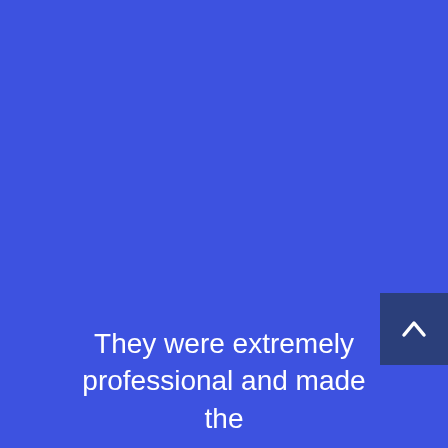[Figure (screenshot): Blue background page with a dark navy scroll-to-top button (chevron up icon) in the lower right area]
They were extremely professional and made the